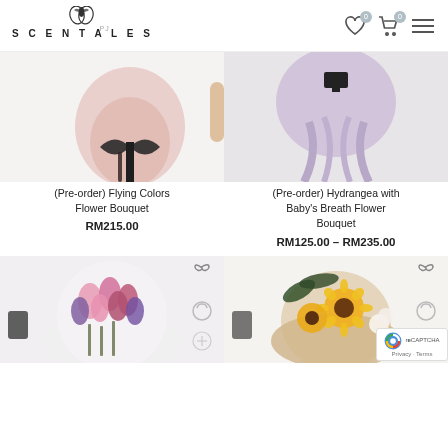SCENTALES
[Figure (photo): Product photo of (Pre-order) Flying Colors Flower Bouquet - a pink bouquet with black ribbon against a white brick wall background]
(Pre-order) Flying Colors Flower Bouquet
RM215.00
[Figure (photo): Product photo of (Pre-order) Hydrangea with Baby's Breath Flower Bouquet - a purple/lavender ribbon bouquet against a white fabric background]
(Pre-order) Hydrangea with Baby's Breath Flower Bouquet
RM125.00 – RM235.00
[Figure (photo): Product photo of a pink and purple tulip bouquet wrapped in white tissue paper]
[Figure (photo): Product photo of a sunflower and white rose bouquet wrapped in brown kraft paper]